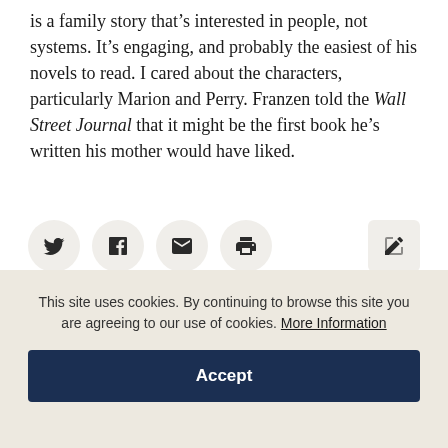is a family story that's interested in people, not systems. It's engaging, and probably the easiest of his novels to read. I cared about the characters, particularly Marion and Perry. Franzen told the Wall Street Journal that it might be the first book he's written his mother would have liked.
[Figure (infographic): Social sharing icon buttons: Twitter, Facebook, Email, Print (left side), and an Edit/external link icon (right side). All buttons are circular with light beige background.]
This site uses cookies. By continuing to browse this site you are agreeing to our use of cookies. More Information
Accept